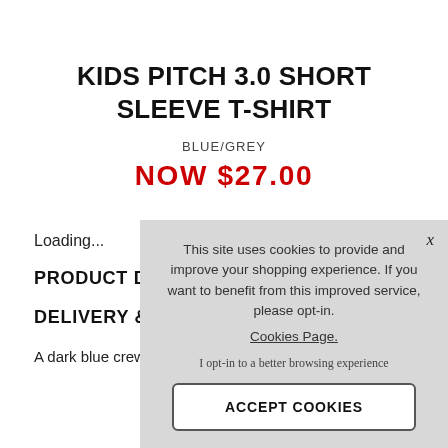KIDS PITCH 3.0 SHORT SLEEVE T-SHIRT
BLUE/GREY
NOW $27.00
Loading...
PRODUCT DETAILS
DELIVERY & RETURN
A dark blue crew neck t
This site uses cookies to provide and improve your shopping experience. If you want to benefit from this improved service, please opt-in. Cookies Page. I opt-in to a better browsing experience ACCEPT COOKIES